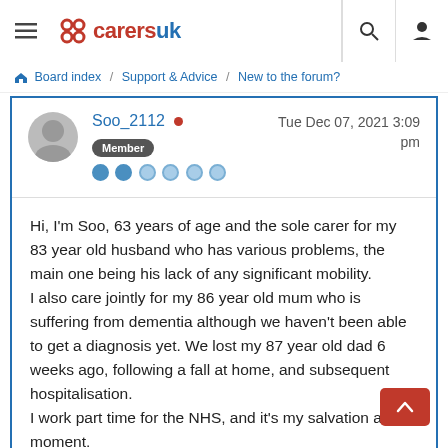[Figure (logo): CarersUK logo with navigation bar including menu icon, search icon, and user icon]
Board index / Support & Advice / New to the forum?
Soo_2112 • Member — Tue Dec 07, 2021 3:09 pm
Hi, I'm Soo, 63 years of age and the sole carer for my 83 year old husband who has various problems, the main one being his lack of any significant mobility.
I also care jointly for my 86 year old mum who is suffering from dementia although we haven't been able to get a diagnosis yet. We lost my 87 year old dad 6 weeks ago, following a fall at home, and subsequent hospitalisation.
I work part time for the NHS, and it's my salvation at the moment.
It's scary and tiring when you realise people depend on you, particularly during the horrible situation we find ourselves in